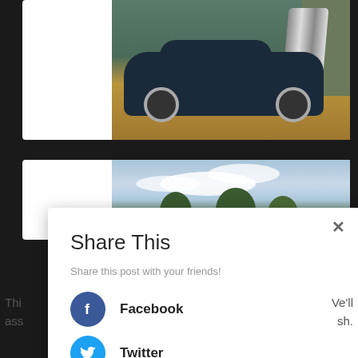[Figure (photo): Vintage dark blue hot rod / custom car parked on gravel in front of a green metal building, with a chrome engine visible.]
[Figure (photo): Outdoor landscape photo showing trees against a partly cloudy sky.]
Share This
Share this post with your friends!
Facebook
Twitter
This
ass
Ve'll
sh.